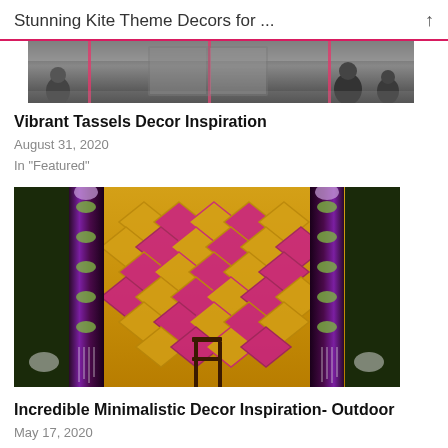Stunning Kite Theme Decors for ...
[Figure (photo): Top portion of a photo showing people in a decorated indoor event space with pink/red accents and glass elevator]
Vibrant Tassels Decor Inspiration
August 31, 2020
In "Featured"
[Figure (photo): Elaborate Indian wedding stage decor with gold geometric diamond pattern backdrop in pink and gold, with floral pillars on each side and a wooden chair in center]
Incredible Minimalistic Decor Inspiration- Outdoor
May 17, 2020